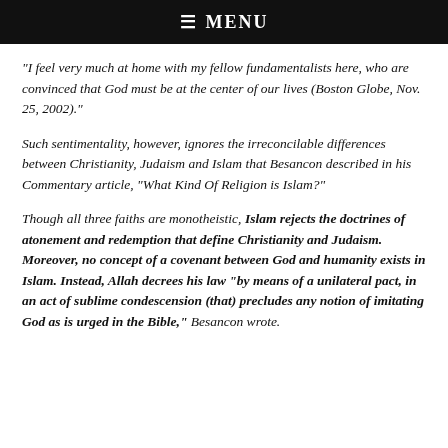☰  MENU
“I feel very much at home with my fellow fundamentalists here, who are convinced that God must be at the center of our lives (Boston Globe, Nov. 25, 2002).”
Such sentimentality, however, ignores the irreconcilable differences between Christianity, Judaism and Islam that Besancon described in his Commentary article, “What Kind Of Religion is Islam?”
Though all three faiths are monotheistic, Islam rejects the doctrines of atonement and redemption that define Christianity and Judaism. Moreover, no concept of a covenant between God and humanity exists in Islam. Instead, Allah decrees his law “by means of a unilateral pact, in an act of sublime condescension (that) precludes any notion of imitating God as is urged in the Bible,” Besancon wrote.